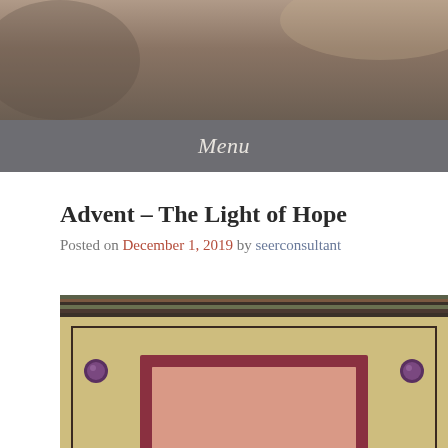[Figure (photo): Header photo showing a warm brownish-tan background, blurred indoor scene]
Menu
Advent – The Light of Hope
Posted on December 1, 2019 by seerconsultant
[Figure (photo): Close-up photo of a handmade craft item resembling a decorative frame or book cover with tan/beige textured leather-like surface, burgundy/dark red inner border, pink center panel, purple gem embellishments in upper corners, and a dark striped border at the top]